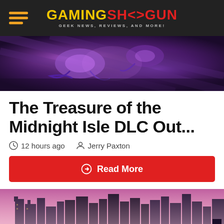GAMINGSHOGUN — GEEK NEWS, REVIEWS, AND MORE!
[Figure (screenshot): Dark fantasy/RPG game screenshot showing purple-hued monsters or creatures from a top-down view with dramatic lighting]
The Treasure of the Midnight Isle DLC Out...
12 hours ago   Jerry Paxton
Read More
[Figure (screenshot): City skyline silhouette at dusk/night with pink-purple sky, several dark silhouetted figures in the foreground looking out over the city]